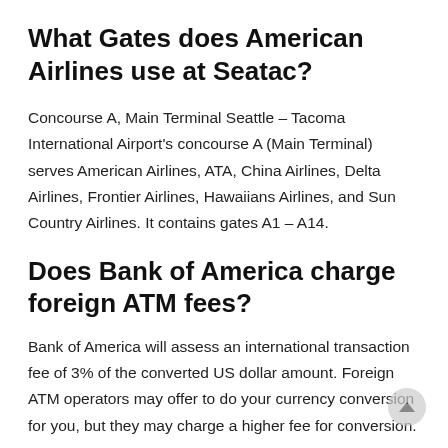What Gates does American Airlines use at Seatac?
Concourse A, Main Terminal Seattle – Tacoma International Airport's concourse A (Main Terminal) serves American Airlines, ATA, China Airlines, Delta Airlines, Frontier Airlines, Hawaiians Airlines, and Sun Country Airlines. It contains gates A1 – A14.
Does Bank of America charge foreign ATM fees?
Bank of America will assess an international transaction fee of 3% of the converted US dollar amount. Foreign ATM operators may offer to do your currency conversion for you, but they may charge a higher fee for conversion.